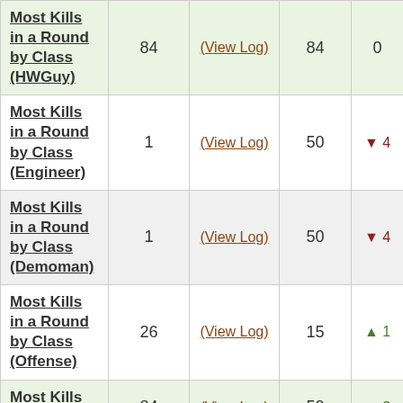| Stat | Your Value | Log | Server Best | Rank |
| --- | --- | --- | --- | --- |
| Most Kills in a Round by Class (HWGuy) | 84 | (View Log) | 84 | 0 |
| Most Kills in a Round by Class (Engineer) | 1 | (View Log) | 50 | ▼ 4 |
| Most Kills in a Round by Class (Demoman) | 1 | (View Log) | 50 | ▼ 4 |
| Most Kills in a Round by Class (Offense) | 26 | (View Log) | 15 | ▲ 1 |
| Most Kills in a Round ... | 84 | (View Log) | 50 | ▲ 3 |